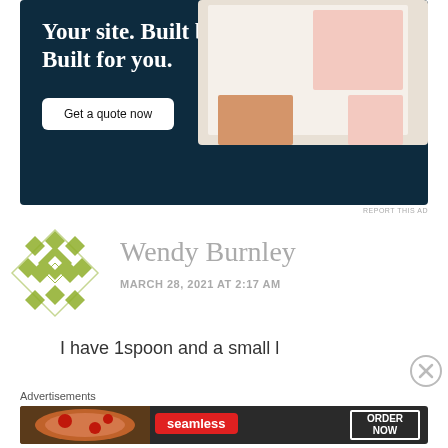[Figure (screenshot): Advertisement banner with dark navy background showing 'Your site. Built by us. Built for you.' with a 'Get a quote now' button and website screenshot mockup on the right]
REPORT THIS AD
[Figure (logo): Green diamond/quilt pattern logo for Wendy Burnley]
Wendy Burnley
MARCH 28, 2021 AT 2:17 AM
I have 1spoon and a small l
Advertisements
[Figure (screenshot): Seamless food delivery advertisement showing pizza, Seamless logo, and ORDER NOW button]